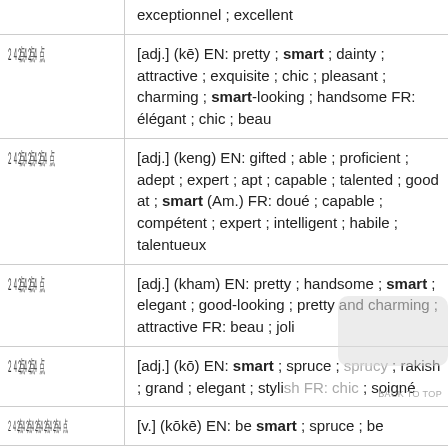| Thai | Definition |
| --- | --- |
| (top, cut off) | exceptionnel ; excellent |
| □□□ | [adj.] (kē) EN: pretty ; smart ; dainty ; attractive ; exquisite ; chic ; pleasant ; charming ; smart-looking ; handsome FR: élégant ; chic ; beau |
| □□□□ | [adj.] (keng) EN: gifted ; able ; proficient ; adept ; expert ; apt ; capable ; talented ; good at ; smart (Am.) FR: doué ; capable ; compétent ; expert ; intelligent ; habile ; talentueux |
| □□□ | [adj.] (kham) EN: pretty ; handsome ; smart ; elegant ; good-looking ; pretty and charming ; attractive FR: beau ; joli |
| □□□ | [adj.] (kō) EN: smart ; spruce ; sprucy ; rakish ; grand ; elegant ; stylish FR: chic ; soigné |
| □□□□□□ | [v.] (kōkē) EN: be smart ; spruce ; be |